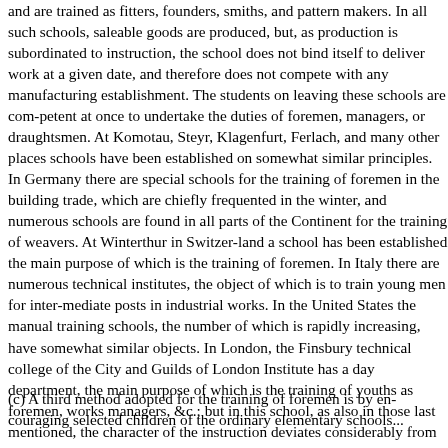and are trained as fitters, founders, smiths, and pattern makers. In all such schools, saleable goods are produced, but, as production is subordinated to instruction, the school does not bind itself to deliver work at a given date, and therefore does not compete with any manufacturing establishment. The students on leaving these schools are com-petent at once to undertake the duties of foremen, managers, or draughtsmen. At Komotau, Steyr, Klagenfurt, Ferlach, and many other places schools have been established on somewhat similar principles. In Germany there are special schools for the training of foremen in the building trade, which are chiefly frequented in the winter, and numerous schools are found in all parts of the Continent for the training of weavers. At Winterthur in Switzer-land a school has been established the main purpose of which is the training of foremen. In Italy there are numerous technical institutes, the object of which is to train young men for inter-mediate posts in industrial works. In the United States the manual training schools, the number of which is rapidly increasing, have somewhat similar objects. In London, the Finsbury technical college of the City and Guilds of London Institute has a day department, the main purpose of which is the training of youths as foremen, works managers, &c.; but in this school, as also in those last mentioned, the character of the instruction deviates considerably from that given in French schools, and aims rather at preparing youths to learn, than at teaching them, their trade.
(c) A third method adopted for the training of foremen is by en-couraging selected children of the ordinary elementary schools...